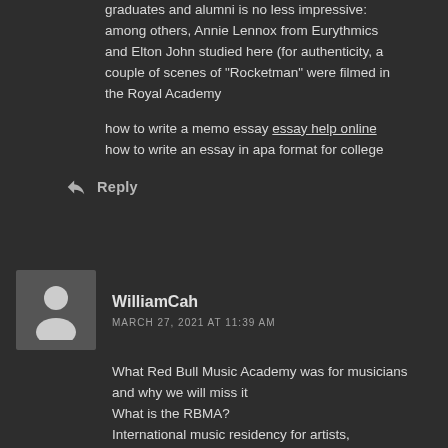graduates and alumni is no less impressive: among others, Annie Lennox from Eurythmics and Elton John studied here (for authenticity, a couple of scenes of "Rocketman" were filmed in the Royal Academy
how to write a memo essay essay help online how to write an essay in apa format for college
Reply
[Figure (illustration): User avatar placeholder — grey square with a white silhouette of a person]
WilliamCah
MARCH 27, 2021 AT 11:39 AM
What Red Bull Music Academy was for musicians and why we will miss it
What is the RBMA?
International music residency for artists,